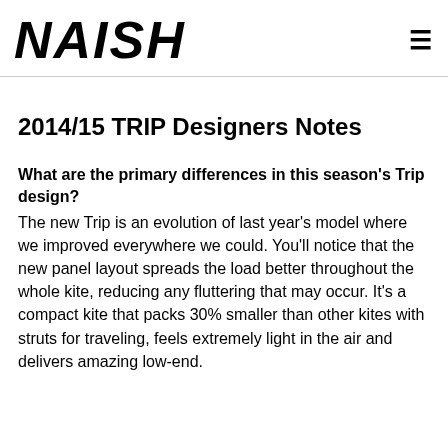NAISH
2014/15 TRIP Designers Notes
What are the primary differences in this season's Trip design?
The new Trip is an evolution of last year's model where we improved everywhere we could. You'll notice that the new panel layout spreads the load better throughout the whole kite, reducing any fluttering that may occur. It's a compact kite that packs 30% smaller than other kites with struts for traveling, feels extremely light in the air and delivers amazing low-end.